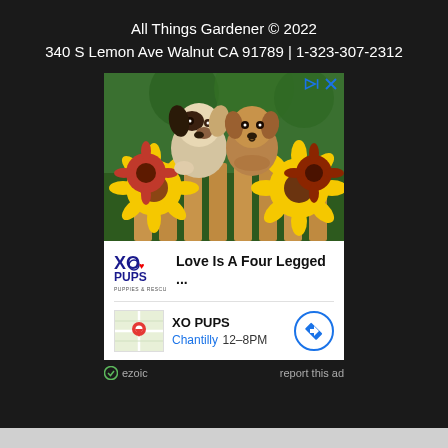All Things Gardener © 2022
340 S Lemon Ave Walnut CA 91789 | 1-323-307-2312
[Figure (screenshot): Advertisement: XO Pups ad featuring two puppies sitting among sunflowers. Shows brand logo, tagline 'Love Is A Four Legged...', location info for XO PUPS in Chantilly 12-8PM with map thumbnail and directions button. Ezoic ad label and 'report this ad' link at bottom.]